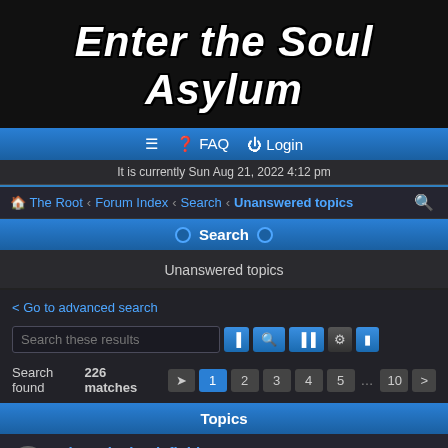Enter the Soul Asylum
≡  FAQ  Login
It is currently Sun Aug 21, 2022 4:12 pm
The Root · Forum Index · Search · Unanswered topics
Search
Unanswered topics
< Go to advanced search
Search these results
Search found 226 matches  1 2 3 4 5 ... 10 >
Topics
Misery is the definitive GenX song
Last post by jasonC « Mon Sep 20, 2021 7:47 am
Posted in General Discussion
New EP - Born Free